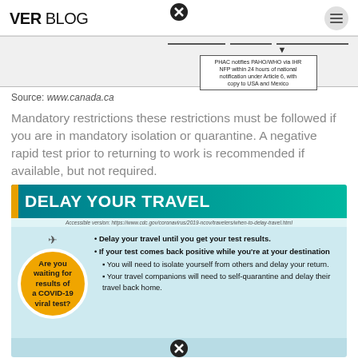VER BLOG
[Figure (flowchart): Partial flowchart showing PHAC notifies PAHO/WHO via IHR NFP within 24 hours of national notification under Article 6, with copy to USA and Mexico]
Source: www.canada.ca
Mandatory restrictions these restrictions must be followed if you are in mandatory isolation or quarantine. A negative rapid test prior to returning to work is recommended if available, but not required.
[Figure (infographic): CDC infographic titled DELAY YOUR TRAVEL. Shows a circle with text 'Are you waiting for results of a COVID-19 viral test?' with bullet points: Delay your travel until you get your test results. If your test comes back positive while you're at your destination: You will need to isolate yourself from others and delay your return. Your travel companions will need to self-quarantine and delay their travel back home.]